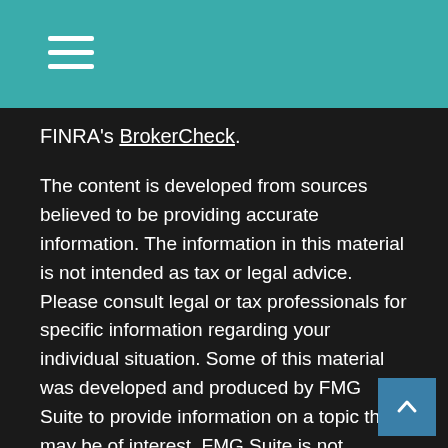Navigation menu (hamburger icon)
FINRA's BrokerCheck.
The content is developed from sources believed to be providing accurate information. The information in this material is not intended as tax or legal advice. Please consult legal or tax professionals for specific information regarding your individual situation. Some of this material was developed and produced by FMG Suite to provide information on a topic that may be of interest. FMG Suite is not affiliated with the named representative, broker - dealer, state - or SEC - registered investment advisory firm. The opinions expressed and material provided are for general information, and should not be considered a solicitation for the purchase or sale of any security.
We take protecting your data and privacy very seriously. As of January 1, 2020 the California Consumer Privacy